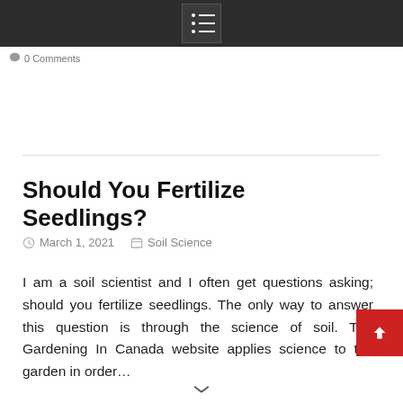Menu icon / navigation bar
0 Comments
Should You Fertilize Seedlings?
March 1, 2021   Soil Science
I am a soil scientist and I often get questions asking; should you fertilize seedlings. The only way to answer this question is through the science of soil. The Gardening In Canada website applies science to the garden in order…